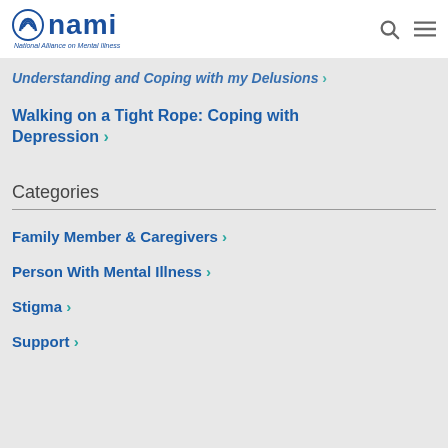NAMI - National Alliance on Mental Illness
Understanding and Coping with my Delusions >
Walking on a Tight Rope: Coping with Depression >
Categories
Family Member & Caregivers >
Person With Mental Illness >
Stigma >
Support >